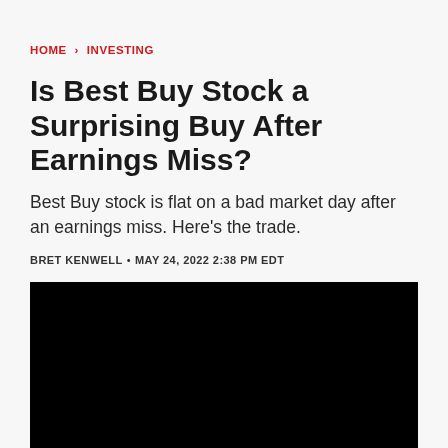HOME > INVESTING
Is Best Buy Stock a Surprising Buy After Earnings Miss?
Best Buy stock is flat on a bad market day after an earnings miss. Here's the trade.
BRET KENWELL • MAY 24, 2022 2:38 PM EDT
[Figure (photo): Black image/video thumbnail placeholder]